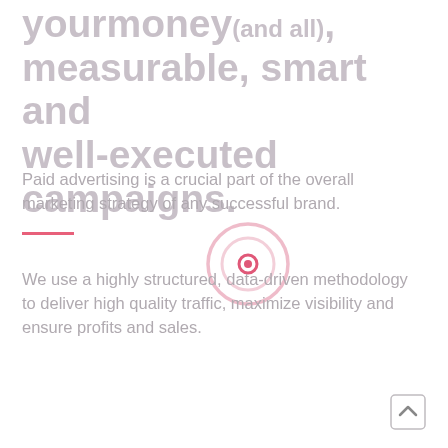yourmoney (and all), measurable, smart and well-executed campaigns.
Paid advertising is a crucial part of the overall marketing strategy of any successful brand.
[Figure (illustration): Pink circle target / record icon with concentric circles and a pink dot in the center]
We use a highly structured, data-driven methodology to deliver high quality traffic, maximize visibility and ensure profits and sales.